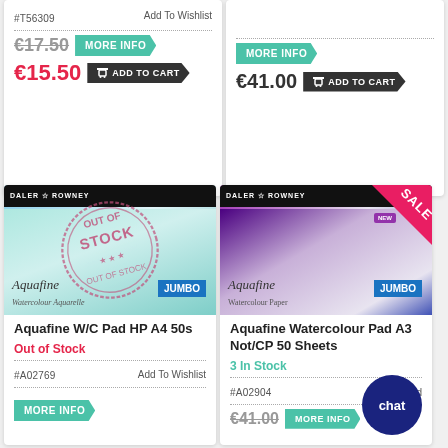#T56309
€17.50 (strikethrough), €15.50 (sale price)
MORE INFO | ADD TO CART
€41.00
MORE INFO | ADD TO CART
[Figure (photo): Aquafine W/C Pad HP A4 50s product image with OUT OF STOCK stamp overlay]
Aquafine W/C Pad HP A4 50s
Out of Stock
#A02769
Add To Wishlist
MORE INFO
[Figure (photo): Aquafine Watercolour Pad A3 Not/CP 50 Sheets product image with SALE ribbon]
Aquafine Watercolour Pad A3 Not/CP 50 Sheets
3 In Stock
#A02904
Add To Wishlist
€41.00
MORE INFO